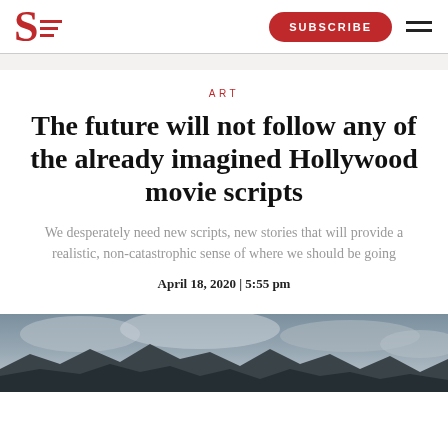S SUBSCRIBE
ART
The future will not follow any of the already imagined Hollywood movie scripts
We desperately need new scripts, new stories that will provide a realistic, non-catastrophic sense of where we should be going
April 18, 2020 | 5:55 pm
[Figure (photo): Atmospheric landscape photo showing dark mountainous terrain with cloudy grey sky]